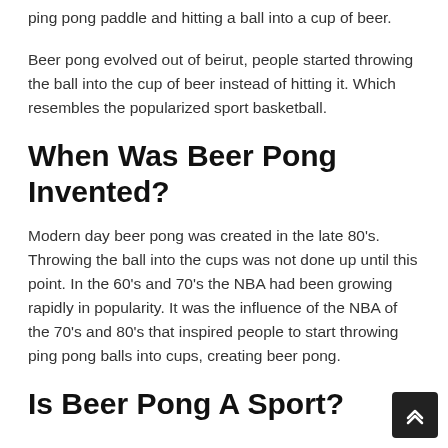ping pong paddle and hitting a ball into a cup of beer.
Beer pong evolved out of beirut, people started throwing the ball into the cup of beer instead of hitting it. Which resembles the popularized sport basketball.
When Was Beer Pong Invented?
Modern day beer pong was created in the late 80's. Throwing the ball into the cups was not done up until this point. In the 60's and 70's the NBA had been growing rapidly in popularity. It was the influence of the NBA of the 70's and 80's that inspired people to start throwing ping pong balls into cups, creating beer pong.
Is Beer Pong A Sport?